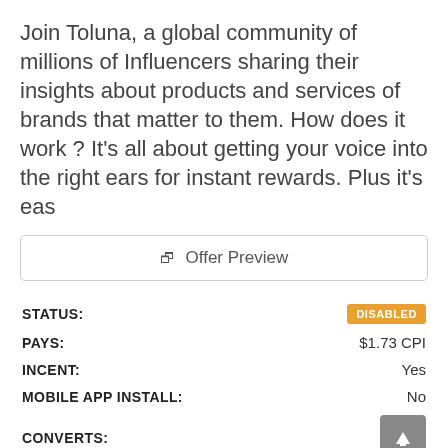Join Toluna, a global community of millions of Influencers sharing their insights about products and services of brands that matter to them. How does it work ? It's all about getting your voice into the right ears for instant rewards. Plus it's eas
Offer Preview
| Field | Value |
| --- | --- |
| STATUS: | DISABLED |
| PAYS: | $1.73 CPI |
| INCENT: | Yes |
| MOBILE APP INSTALL: | No |
| CONVERTS: |  |
| OFFER TYPE: | Cost Per Install (CPI) |
| SOURCE: | CPAlead.com |